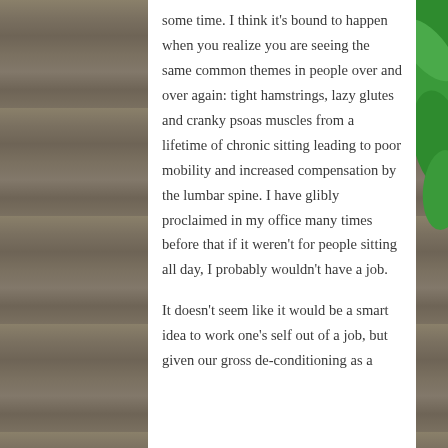some time. I think it's bound to happen when you realize you are seeing the same common themes in people over and over again: tight hamstrings, lazy glutes and cranky psoas muscles from a lifetime of chronic sitting leading to poor mobility and increased compensation by the lumbar spine. I have glibly proclaimed in my office many times before that if it weren't for people sitting all day, I probably wouldn't have a job.
It doesn't seem like it would be a smart idea to work one's self out of a job, but given our gross de-conditioning as a